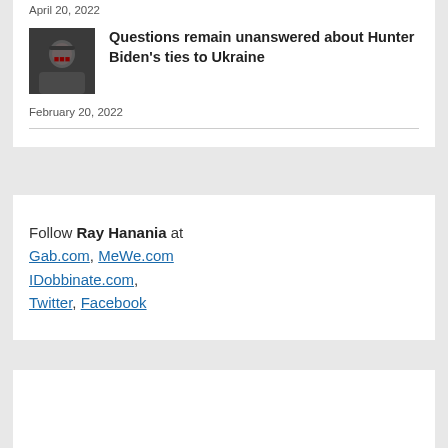April 20, 2022
[Figure (photo): Thumbnail image of a person]
Questions remain unanswered about Hunter Biden's ties to Ukraine
February 20, 2022
Follow Ray Hanania at Gab.com, MeWe.com IDobbinate.com, Twitter, Facebook